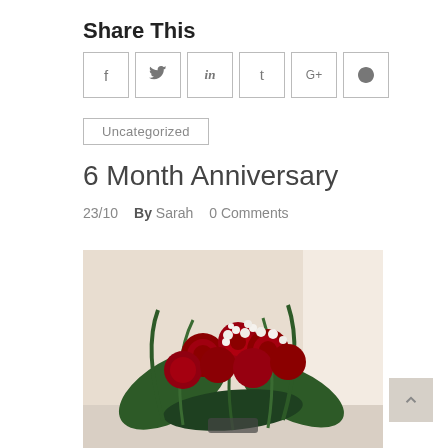Share This
[Figure (infographic): Social share buttons: Facebook (f), Twitter (bird), LinkedIn (in), Tumblr (t), Google+ (G+), Pinterest (p) — each in a square outlined box]
Uncategorized
6 Month Anniversary
23/10    By Sarah    0 Comments
[Figure (photo): Photograph of a bouquet of red roses with white baby's breath and green foliage, placed on a white surface near a bright window]